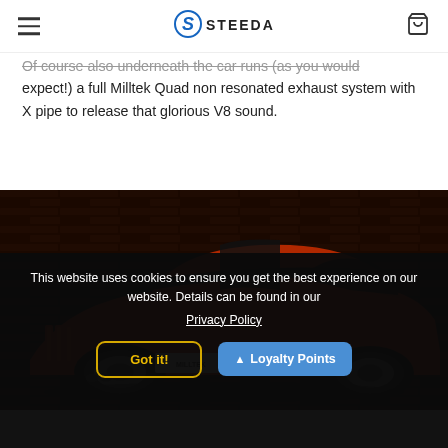STEEDA (logo and navigation)
Of course also underneath the car runs (as you would expect!) a full Milltek Quad non resonated exhaust system with X pipe to release that glorious V8 sound.
[Figure (photo): Rear three-quarter view of an orange Ford Mustang GT with black racing stripes and Milltek exhaust, photographed against a dark brick wall background.]
This website uses cookies to ensure you get the best experience on our website. Details can be found in our Privacy Policy
Got it!
Loyalty Points